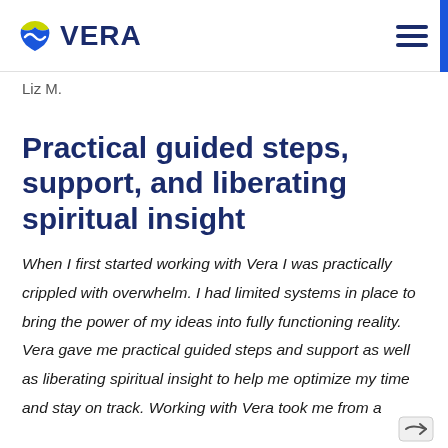VERA
Liz M.
Practical guided steps, support, and liberating spiritual insight
When I first started working with Vera I was practically crippled with overwhelm. I had limited systems in place to bring the power of my ideas into fully functioning reality. Vera gave me practical guided steps and support as well as liberating spiritual insight to help me optimize my time and stay on track. Working with Vera took me from a